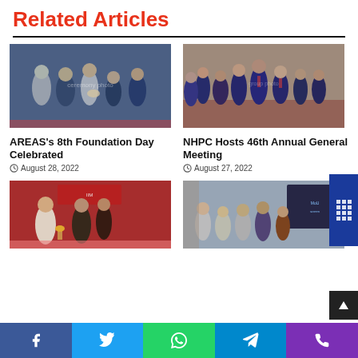Related Articles
[Figure (photo): Group of people at an award ceremony, person receiving a trophy/plaque]
AREAS's 8th Foundation Day Celebrated
August 28, 2022
[Figure (photo): Group of officials in suits standing in a formal pose at NHPC Annual General Meeting]
NHPC Hosts 46th Annual General Meeting
August 27, 2022
[Figure (photo): Person lighting a lamp at a ceremony, with ladies in traditional attire]
[Figure (photo): Group of officials including foreign delegates standing for a photo with a backdrop]